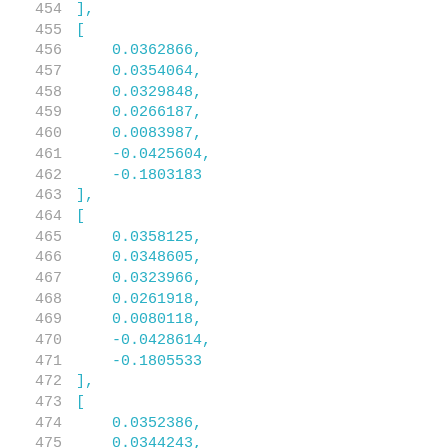454  ],
455  [
456    0.0362866,
457    0.0354064,
458    0.0329848,
459    0.0266187,
460    0.0083987,
461    -0.0425604,
462    -0.1803183
463  ],
464  [
465    0.0358125,
466    0.0348605,
467    0.0323966,
468    0.0261918,
469    0.0080118,
470    -0.0428614,
471    -0.1805533
472  ],
473  [
474    0.0352386,
475    0.0344243,